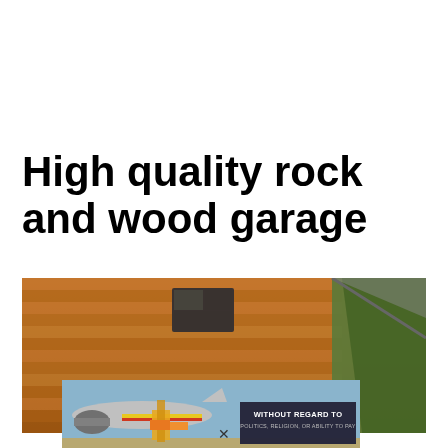High quality rock and wood garage
[Figure (photo): Photo of a wooden paneled garage exterior with horizontal wood siding in warm brown tones, a small dark window near the top, and green trees visible on the right side.]
[Figure (photo): Photo of an airplane on a tarmac being loaded with cargo, with a dark overlay box on the right reading WITHOUT REGARD TO / POLITICS, RELIGION, OR ABILITY TO PAY]